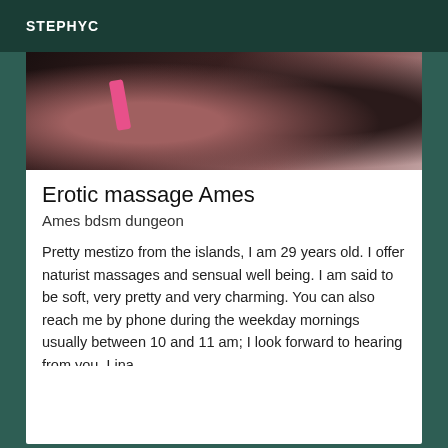STEPHYC
[Figure (photo): Blurred close-up photo of a person with dark hair wearing a pink strap, viewed from above]
Erotic massage Ames
Ames bdsm dungeon
Pretty mestizo from the islands, I am 29 years old. I offer naturist massages and sensual well being. I am said to be soft, very pretty and very charming. You can also reach me by phone during the weekday mornings usually between 10 and 11 am; I look forward to hearing from you, Lina